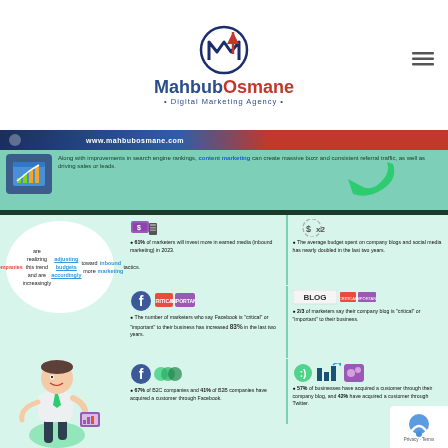[Figure (logo): MahbubOsmane Digital Marketing Agency logo with M emblem and red upward arrow]
MahbubOsmane · Digital Marketing Agency ·
www.mahbubosmane.com
[Figure (infographic): Inbound marketing infographic showing statistics about content marketing, earned media, Facebook, blogs, and Twitter with a cartoon marketer character]
Along with improvements in search engine rankings, content marketing can create massive buzz and consistent referral traffic, as well as driving sales or leads.
Savvy companies are realizing this trend and are increasingly adjusting budgets accordingly toward more inbound marketing tactics.
61% of marketers will invest more in earned media (inbound marketing) in 2023.
The average budget spent on company blogs and social media has nearly doubled in the last two years.
The number of marketers who say Facebook is "critical" or "important" to their business has increased 83% in the last two years.
2/3 of marketers say their company blog is "critical" or "important" to their business.
67% of B2C companies and 41% of B2B companies have acquired a customer through Facebook.
57% of businesses have acquired a customer through their company blog, and 42% have acquired a customer through Twitter.